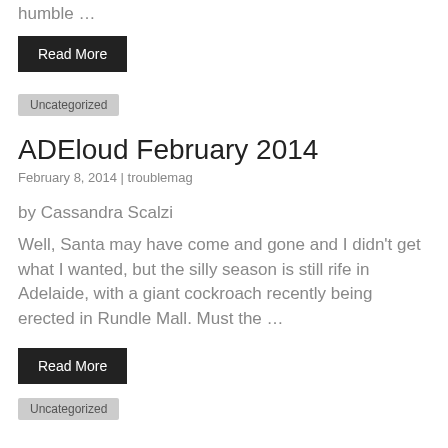humble …
Read More
Uncategorized
ADEloud February 2014
February 8, 2014 | troublemag
by Cassandra Scalzi
Well, Santa may have come and gone and I didn't get what I wanted, but the silly season is still rife in Adelaide, with a giant cockroach recently being erected in Rundle Mall. Must the …
Read More
Uncategorized